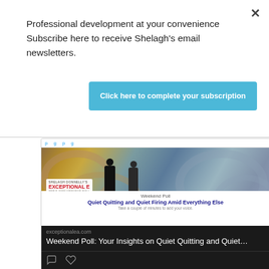Professional development at your convenience Subscribe here to receive Shelagh's email newsletters.
Click here to complete your subscription
[Figure (screenshot): Screenshot of a tweet/social media post showing a weekend poll about Quiet Quitting and Quiet Firing, with a thumbnail image of two silhouettes in front of an artistic background, from exceptionalea.com. Below the image link preview are heart/like icons, and a 'Shelagh Donnelly Retweeted' label.]